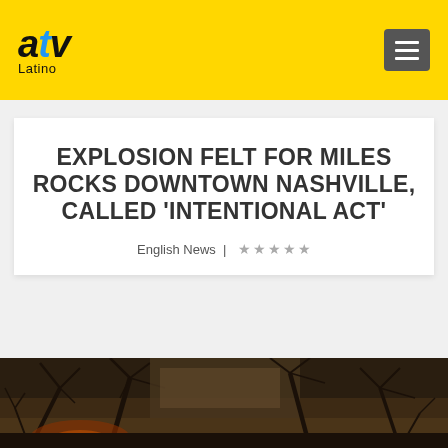ATV Latino
EXPLOSION FELT FOR MILES ROCKS DOWNTOWN NASHVILLE, CALLED 'INTENTIONAL ACT'
English News | ★★★★★
[Figure (photo): Dark outdoor photo showing bare tree branches with smoke or haze in the background, likely from the Nashville explosion scene]